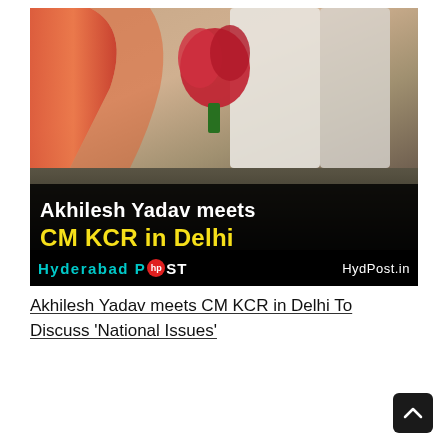[Figure (photo): Photo of politicians meeting, one presenting a large bouquet of red roses to another. Overlay text reads: 'Akhilesh Yadav meets CM KCR in Delhi To Discuss National Issues'. Hyderabad Post logo and HydPost.in URL shown on bottom bar.]
Akhilesh Yadav meets CM KCR in Delhi To Discuss 'National Issues'